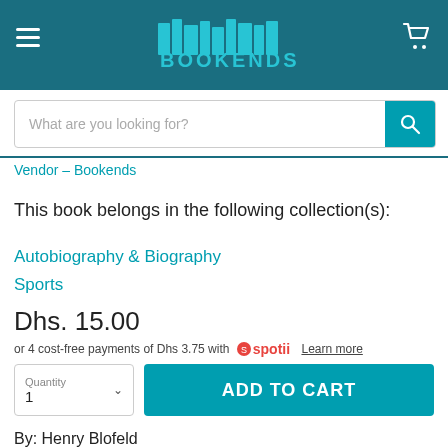[Figure (logo): Bookends logo with teal book spine graphic and text BOOKENDS on dark teal header background]
What are you looking for?
Vendor – Bookends
This book belongs in the following collection(s):
Autobiography & Biography
Sports
Dhs. 15.00
or 4 cost-free payments of Dhs 3.75 with spotii Learn more
Quantity 1
ADD TO CART
By: Henry Blofeld